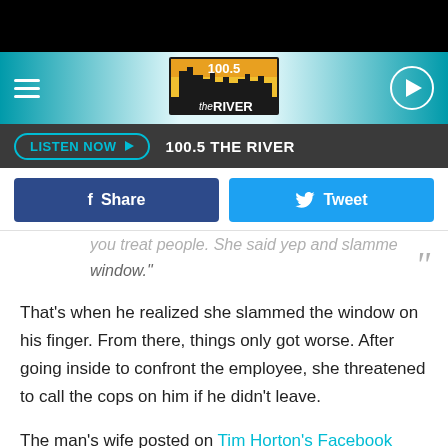[Figure (screenshot): Black top bar of mobile browser]
[Figure (logo): 100.5 The River radio station logo with orange/yellow city skyline on dark background]
LISTEN NOW  100.5 THE RIVER
Share  Tweet
you treat people. She said yep and slammed the window."
That's when he realized she slammed the window on his finger. From there, things only got worse. After going inside to confront the employee, she threatened to call the cops on him if he didn't leave.
The man's wife posted on Tim Horton's Facebook page about the incident and a picture of her husband's broken finger [at